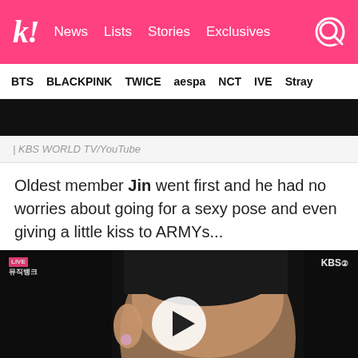k! News Lists Stories Exclusives
BTS BLACKPINK TWICE aespa NCT IVE Stray
[Figure (screenshot): Dark video thumbnail strip at top of page]
| KBS WORLD TV/YouTube
Oldest member Jin went first and he had no worries about going for a sexy pose and even giving a little kiss to ARMYs...
[Figure (screenshot): Video player showing close-up of Jin performing, with KBS logo top right and play button overlay in center]